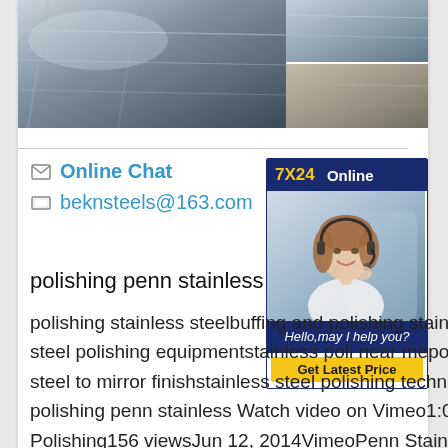[Figure (photo): Top image strip: large photo of polished stainless steel sheet surface on left, two smaller photos of stainless steel sheets stacked on right]
Online Chat
beknsteels@163.com
[Figure (photo): Chat widget: '7X24 Online' header in navy/yellow, photo of female customer service agent with headset smiling, 'Hello,may I help you?' text, 'Get Latest Price' yellow button]
polishing penn stainless
polishing stainless steelbuffing and polishing stainless steelstainless steel polishing equipmentstainless polishing near mepolishing stainless steel to mirror finishstainless steel polishing techniquesVideos of polishing penn stainless Watch video on Vimeo1:04Bar Polishing156 viewsJun 12, 2014VimeoPenn Stainless ProductsSee more videos of polishing penn